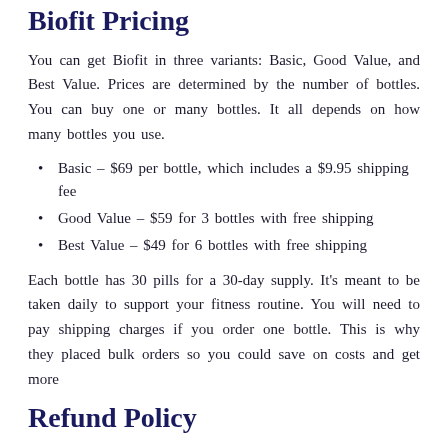Biofit Pricing
You can get Biofit in three variants: Basic, Good Value, and Best Value. Prices are determined by the number of bottles. You can buy one or many bottles. It all depends on how many bottles you use.
Basic – $69 per bottle, which includes a $9.95 shipping fee
Good Value – $59 for 3 bottles with free shipping
Best Value – $49 for 6 bottles with free shipping
Each bottle has 30 pills for a 30-day supply. It's meant to be taken daily to support your fitness routine. You will need to pay shipping charges if you order one bottle. This is why they placed bulk orders so you could save on costs and get more
Refund Policy